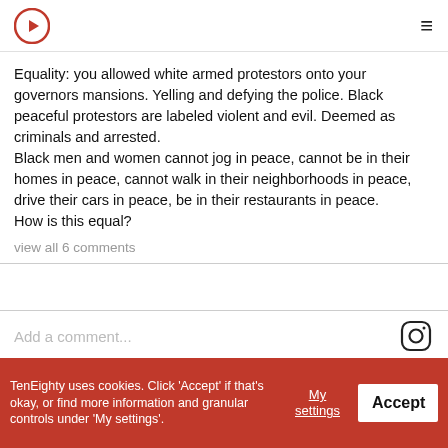TenEighty [logo] [hamburger menu]
Equality: you allowed white armed protestors onto your governors mansions. Yelling and defying the police. Black peaceful protestors are labeled violent and evil. Deemed as criminals and arrested.
Black men and women cannot jog in peace, cannot be in their homes in peace, cannot walk in their neighborhoods in peace, drive their cars in peace, be in their restaurants in peace.
How is this equal?
view all 6 comments
Add a comment...
Paola Velez is an award-winning pastry chef at Kith and Kind in Washington, D.C. She was recently named as a finalist for the James Beard Rising Star
TenEighty uses cookies. Click 'Accept' if that's okay, or find more information and granular controls under 'My settings'.